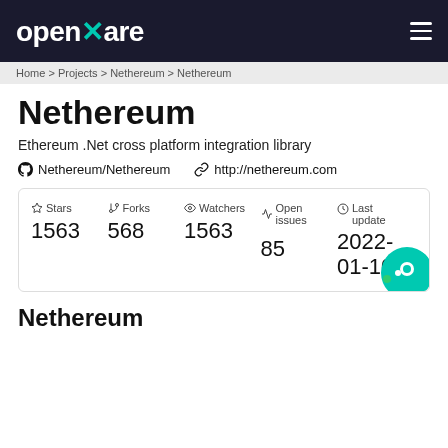openware
Home / Projects / Nethereum / Nethereum
Nethereum
Ethereum .Net cross platform integration library
Nethereum/Nethereum   http://nethereum.com
| Stars | Forks | Watchers | Open issues | Last update |
| --- | --- | --- | --- | --- |
| 1563 | 568 | 1563 | 85 | 2022-01-10 |
Nethereum